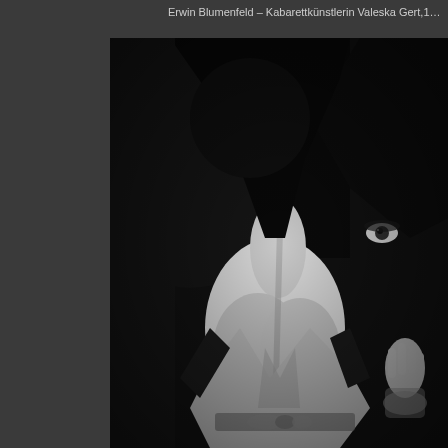Erwin Blumenfeld – Kabarettkünstlerin Valeska Gert,1…
[Figure (photo): Black and white photograph by Erwin Blumenfeld of cabaret artist Valeska Gert. The image shows a woman in a white dress, her face partially obscured by a large dark object or shadow. She peeks from behind with one eye visible. Her neck and décolletage are prominently lit against the dark background. She appears to hold something with her right hand. High contrast monochrome image.]